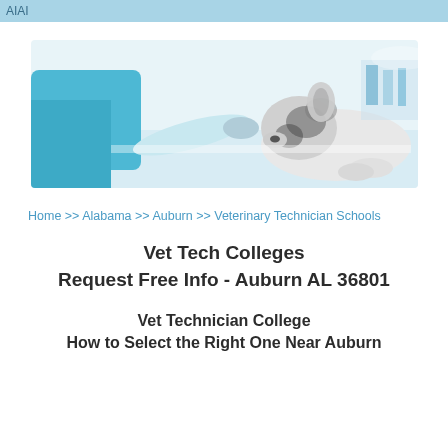AIAI
[Figure (photo): Veterinarian in blue scrubs and gloves examining a black and white fluffy dog (Australian Shepherd) on a white examination table in a veterinary clinic.]
Home >> Alabama >> Auburn >> Veterinary Technician Schools
Vet Tech Colleges Request Free Info - Auburn AL 36801
Vet Technician College How to Select the Right One Near Auburn